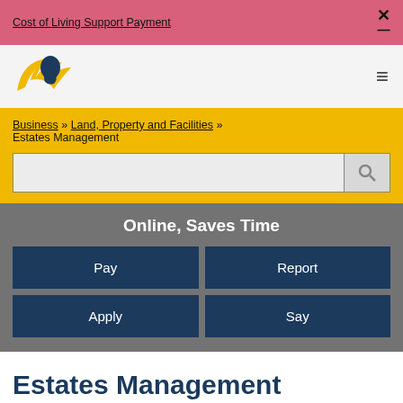Cost of Living Support Payment
[Figure (logo): Council logo with golden wing and blue profile silhouette]
Business » Land, Property and Facilities » Estates Management
Online, Saves Time
Pay
Report
Apply
Say
Estates Management